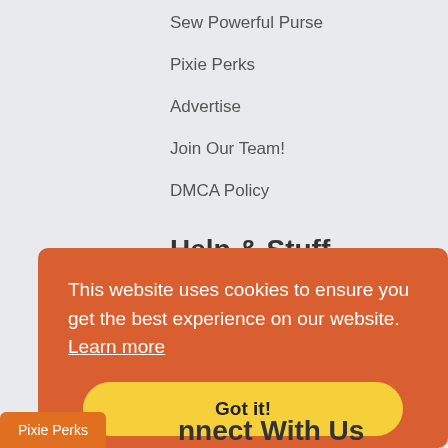Sew Powerful Purse
Pixie Perks
Advertise
Join Our Team!
DMCA Policy
Help & Stuff
Contact & Support
Publish With Us
Pattern Update Log
This website uses cookies to ensure you get the best experience on our website. Learn more
Got it!
Pixie Perks
nnect With Us